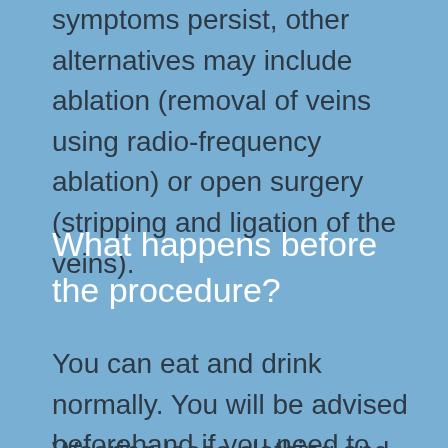symptoms persist, other alternatives may include ablation (removal of veins using radio-frequency ablation) or open surgery (stripping and ligation of the veins).
What happens before the procedure?
You can eat and drink normally. You will be advised beforehand if you need to stop/ alter any medications.
Wearing loose clothing and flat shoes is also recommended.